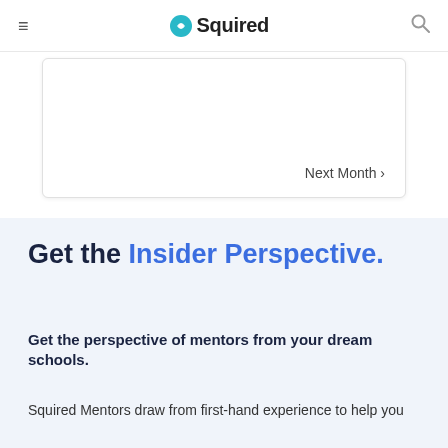≡  Squired  🔍
[Figure (screenshot): Calendar widget box with 'Next Month ›' navigation link in bottom right corner]
Get the Insider Perspective.
Get the perspective of mentors from your dream schools.
Squired Mentors draw from first-hand experience to help you